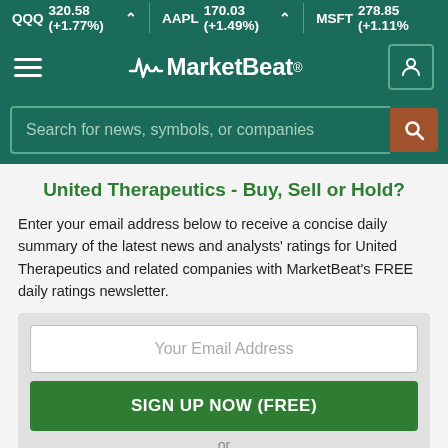QQQ 320.58 (+1.77%) ^ AAPL 170.03 (+1.49%) ^ MSFT 278.85 (+1.11%)
[Figure (logo): MarketBeat logo with hamburger menu and user icon on teal navigation bar]
Search for news, symbols, or companies
United Therapeutics - Buy, Sell or Hold?
Enter your email address below to receive a concise daily summary of the latest news and analysts' ratings for United Therapeutics and related companies with MarketBeat's FREE daily ratings newsletter.
Your Email Address
SIGN UP NOW (FREE)
or
Sign up with Google